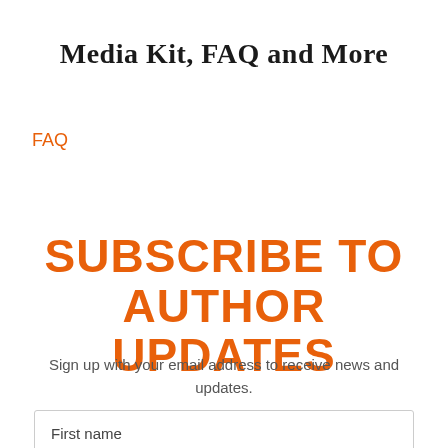Media Kit, FAQ and More
FAQ
SUBSCRIBE TO AUTHOR UPDATES
Sign up with your email address to receive news and updates.
First name